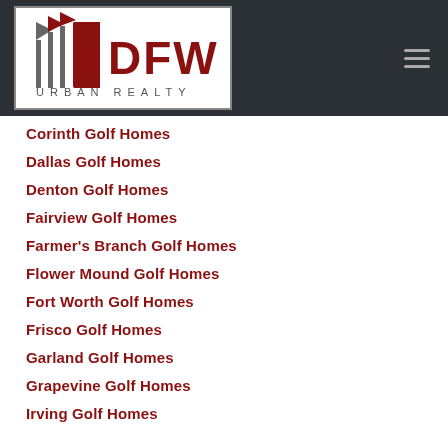[Figure (logo): DFW Urban Realty logo with stylized flag icons and red DFW text]
Corinth Golf Homes
Dallas Golf Homes
Denton Golf Homes
Fairview Golf Homes
Farmer's Branch Golf Homes
Flower Mound Golf Homes
Fort Worth Golf Homes
Frisco Golf Homes
Garland Golf Homes
Grapevine Golf Homes
Irving Golf Homes